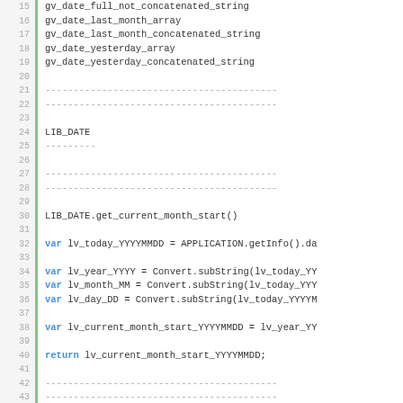[Figure (screenshot): Code listing showing lines 15-48 of a script with line numbers in a gray gutter, a green left border, and syntax-highlighted code. Keywords 'var' and 'return' are highlighted in blue. Lines show variable declarations and function definitions for LIB_DATE date utilities.]